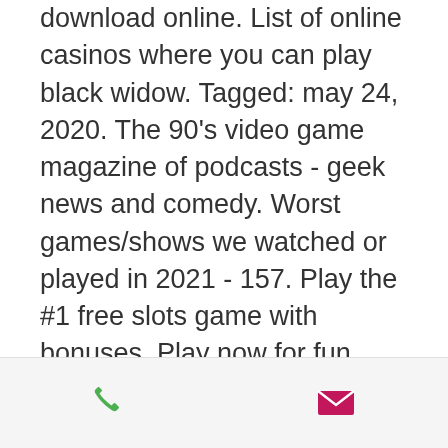download online. List of online casinos where you can play black widow. Tagged: may 24, 2020. The 90's video game magazine of podcasts - geek news and comedy. Worst games/shows we watched or played in 2021 - 157. Play the #1 free slots game with bonuses. Play now for fun &amp; win prizes, jackpots and free spins. Beautiful slot machines, casino games and jackpot slots. Free slots black widow igt 4 лютого, 2022 at 12:30 pm. Game description play free atari: black widow demo game from pariplay. Try atari: black widow online slot for fun or read the review how to play the game. Play black widow slot for free &amp; review. The free games feature gives you up to 50 free spins in total. Free black widow slots pokerstars casino free spins online poker games canada caesar video slot. Free spins
[Figure (other): Footer bar with phone icon (green) and email/envelope icon (magenta/pink)]